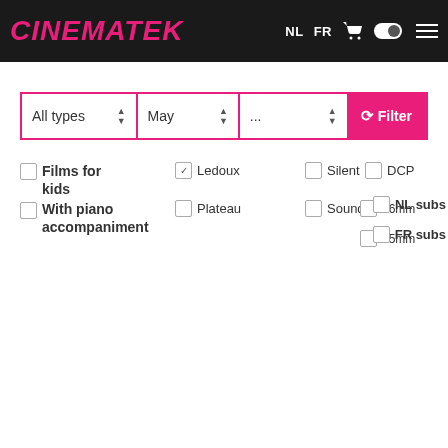CINEMATEK — NL FR [cart] [toggle] [menu]
[Figure (screenshot): Cinematek website navigation bar with logo, language switchers NL/FR, cart icon, toggle and hamburger menu on dark background]
All types ▲▼  May ▲▼  ... ▲▼  🔃 Filter
Films for kids
Ledoux (checked)
Silent
DCP
With piano accompaniment
Plateau
Sound
16mm
NL subs
35mm
FR subs